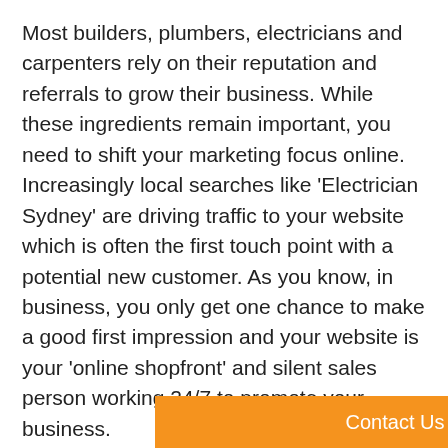Most builders, plumbers, electricians and carpenters rely on their reputation and referrals to grow their business. While these ingredients remain important, you need to shift your marketing focus online. Increasingly local searches like 'Electrician Sydney' are driving traffic to your website which is often the first touch point with a potential new customer. As you know, in business, you only get one chance to make a good first impression and your website is your 'online shopfront' and silent sales person working 24/7 to promote your business.

One of our biggest points of difference compared to other accounting firms is our marketing expertise. We can assist you with your branding (business name, logo and slogan), your corpo...he power
Contact Us